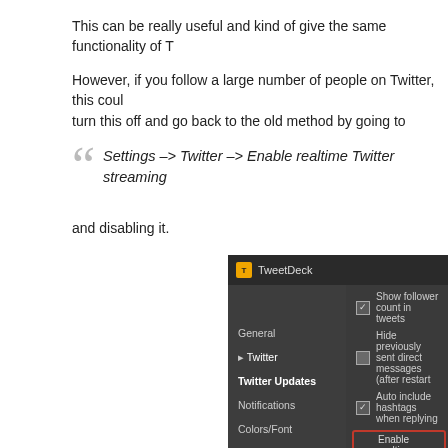This can be really useful and kind of give the same functionality of T
However, if you follow a large number of people on Twitter, this coul turn this off and go back to the old method by going to
Settings –> Twitter –> Enable realtime Twitter streaming
and disabling it.
[Figure (screenshot): TweetDeck settings window showing Twitter settings panel with options including Show follower count in tweets (checked), Hide previously sent direct messages (unchecked), Auto include hashtags when replying (checked), Enable realtime Twitter streaming (checked, highlighted with red border), Include @replies from your friends to others (checked), Hide repeated retweets (unchecked), and Retweet button should dropdown set to Always ask me. Left sidebar shows menu items: General, Twitter, Twitter Updates, Notifications, Colors/Font, Services, Accounts, Sync.]